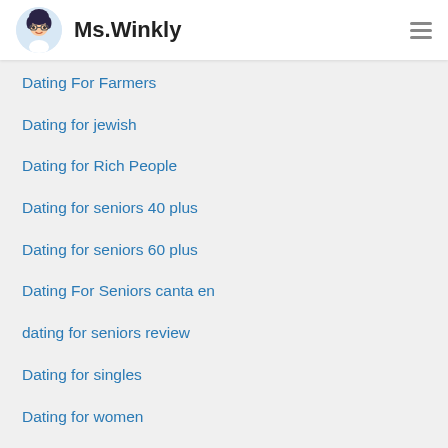Ms.Winkly
Dating For Farmers
Dating for jewish
Dating for Rich People
Dating for seniors 40 plus
Dating for seniors 60 plus
Dating For Seniors canta en
dating for seniors review
Dating for singles
Dating for women
Dating fur 40-jahrige preise
Dating In Your 30s online
Dating In Your 30s visitors
Dating In Your 40s beste apps